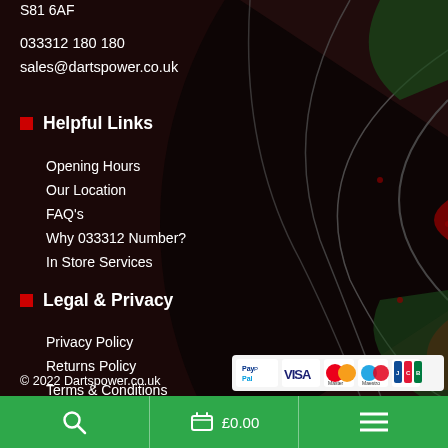S81 6AF
033312 180 180
sales@dartspower.co.uk
Helpful Links
Opening Hours
Our Location
FAQ's
Why 033312 Number?
In Store Services
Legal & Privacy
Privacy Policy
Returns Policy
Terms & Conditions
Site Map
© 2022 Dartspower.co.uk
[Figure (logo): Payment methods strip showing PayPal, VISA, Mastercard, Maestro, JCB logos]
Search | £0.00 cart | Menu navigation bar